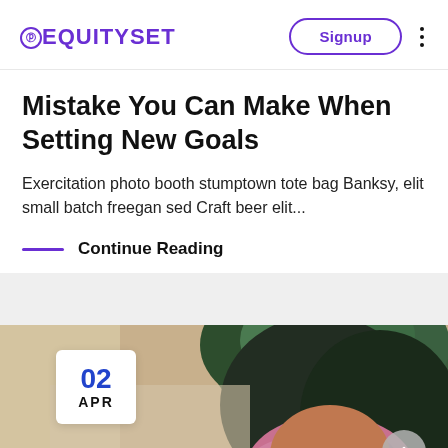EQUITYSET — Signup
Mistake You Can Make When Setting New Goals
Exercitation photo booth stumptown tote bag Banksy, elit small batch freegan sed Craft beer elit...
Continue Reading
[Figure (photo): Bottom portion showing a person with colorful dyed afro hair, with a white date badge showing 02 APR and a scroll-up button]